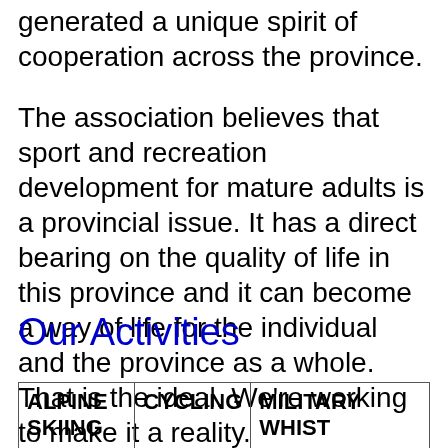generated a unique spirit of cooperation across the province.
The association believes that sport and recreation development for mature adults is a provincial issue. It has a direct bearing on the quality of life in this province and it can become a way of life for the individual and the province as a whole. That is the ideal. We're working to make it a reality.
Our Activities
| ALPINE SKIING | CYCLING | MILITARY WHIST |
| ARTS AND | DARTS | PICKLEBALL |